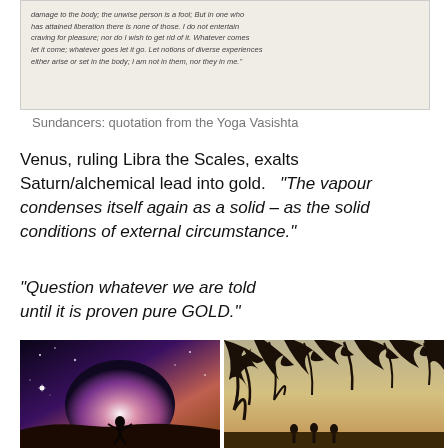[Figure (photo): Handwritten text on paper, a quotation from the Yoga Vasishta about liberation and non-attachment]
Sundancers: quotation from the Yoga Vasishta
Venus, ruling Libra the Scales, exalts Saturn/alchemical lead into gold.   “The vapour condenses itself again as a solid – as the solid conditions of external circumstance.”
“Question whatever we are told until it is proven pure GOLD.”
[Figure (photo): Silhouette of a person with arms raised against a cosmic starry sky with pink and purple nebula]
[Figure (photo): Silhouetted bare tree branches against a warm sunset sky with people below]